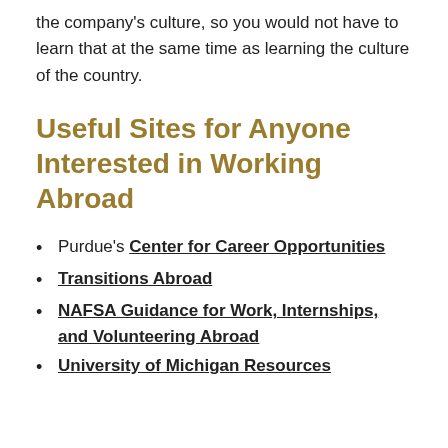the company's culture, so you would not have to learn that at the same time as learning the culture of the country.
Useful Sites for Anyone Interested in Working Abroad
Purdue's Center for Career Opportunities
Transitions Abroad
NAFSA Guidance for Work, Internships, and Volunteering Abroad
University of Michigan Resources